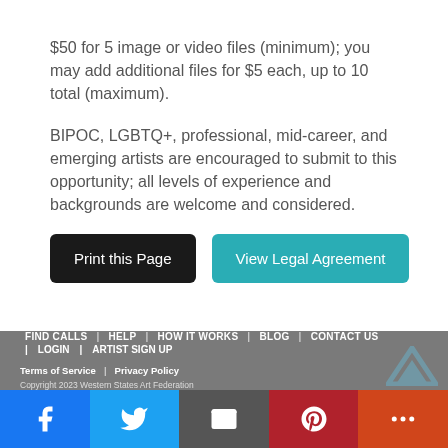$50 for 5 image or video files (minimum); you may add additional files for $5 each, up to 10 total (maximum).
BIPOC, LGBTQ+, professional, mid-career, and emerging artists are encouraged to submit to this opportunity; all levels of experience and backgrounds are welcome and considered.
Print this Page | View Legal Agreement
FIND CALLS | HELP | HOW IT WORKS | BLOG | CONTACT US | LOGIN | ARTIST SIGN UP | Terms of Service | Privacy Policy | Copyright 2023 Western States Art Federation